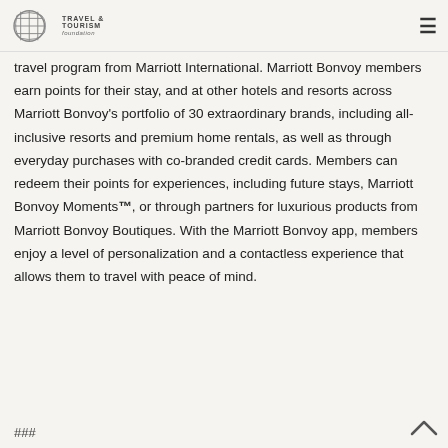Travel & Tourism Foundation
travel program from Marriott International. Marriott Bonvoy members earn points for their stay, and at other hotels and resorts across Marriott Bonvoy's portfolio of 30 extraordinary brands, including all-inclusive resorts and premium home rentals, as well as through everyday purchases with co-branded credit cards. Members can redeem their points for experiences, including future stays, Marriott Bonvoy Moments™, or through partners for luxurious products from Marriott Bonvoy Boutiques. With the Marriott Bonvoy app, members enjoy a level of personalization and a contactless experience that allows them to travel with peace of mind.
###